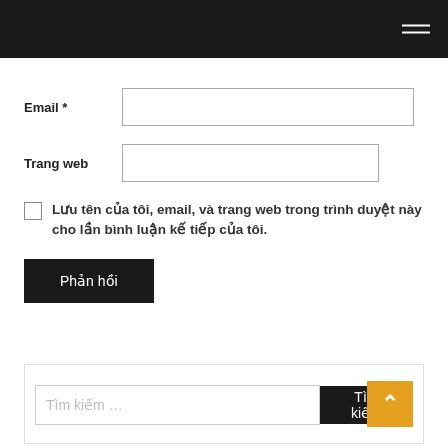Navigation header with hamburger menu
Email *
Trang web
Lưu tên của tôi, email, và trang web trong trình duyệt này cho lần bình luận kế tiếp của tôi.
Phản hồi
Tìm kiếm …
Tìm kiếm